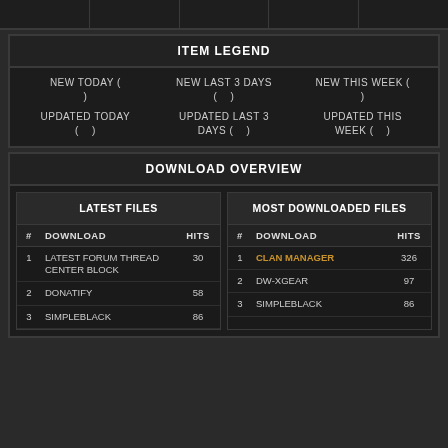ITEM LEGEND
NEW TODAY (  )   NEW LAST 3 DAYS (  )   NEW THIS WEEK (  )
UPDATED TODAY (  )   UPDATED LAST 3 DAYS (  )   UPDATED THIS WEEK (  )
DOWNLOAD OVERVIEW
| # | DOWNLOAD | HITS |
| --- | --- | --- |
| 1 | LATEST FORUM THREAD CENTER BLOCK | 30 |
| 2 | DONATIFY | 58 |
| 3 | SIMPLEBLACK | 86 |
| # | DOWNLOAD | HITS |
| --- | --- | --- |
| 1 | CLAN MANAGER | 326 |
| 2 | DW-XGEAR | 97 |
| 3 | SIMPLEBLACK | 86 |